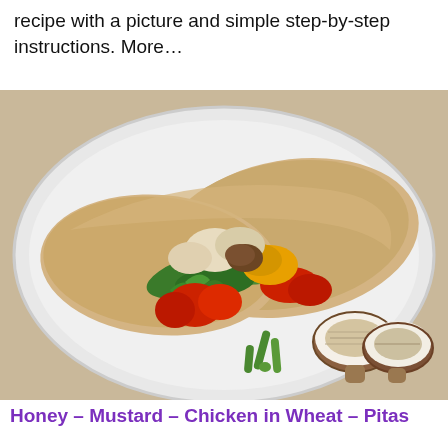recipe with a picture and simple step-by-step instructions. More…
[Figure (photo): A pita bread sandwich filled with chicken, arugula, tomatoes, yellow peppers, and mushrooms, served on a white plate with sliced mushrooms and green onions on the side.]
Honey – Mustard – Chicken in Wheat – Pitas
Figure: A photo...